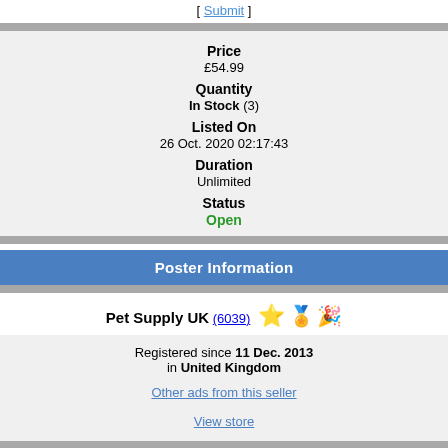[ Submit ]
| Price | £54.99 |
| Quantity | In Stock (3) |
| Listed On | 26 Oct. 2020 02:17:43 |
| Duration | Unlimited |
| Status | Open |
Poster Information
Pet Supply UK (6039)
Registered since 11 Dec. 2013 in United Kingdom
Other ads from this seller
View store
Reputation Rating